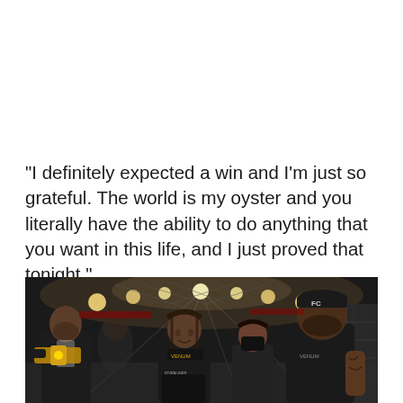“I definitely expected a win and I’m just so grateful. The world is my oyster and you literally have the ability to do anything that you want in this life, and I just proved that tonight.”
[Figure (photo): Photo of UFC fighters and cornermen inside the octagon after a fight. A female fighter in black Venum shorts and a crypto.com sponsored shirt is in the center, flanked by a man in a suit on the left holding a UFC belt, and a large man in a black t-shirt with an FC cap on the right. A woman wearing a black mask is also visible. Arena lights and the octagon fence are visible in the background.]